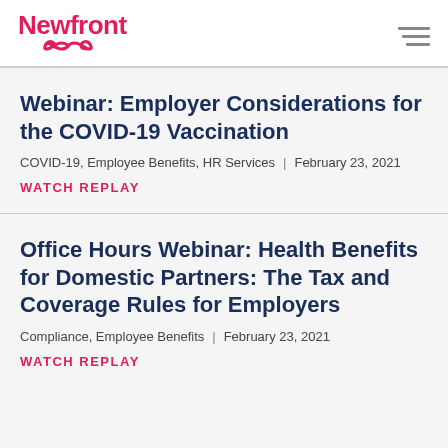Newfront
Webinar: Employer Considerations for the COVID-19 Vaccination
COVID-19, Employee Benefits, HR Services | February 23, 2021
WATCH REPLAY
Office Hours Webinar: Health Benefits for Domestic Partners: The Tax and Coverage Rules for Employers
Compliance, Employee Benefits | February 23, 2021
WATCH REPLAY